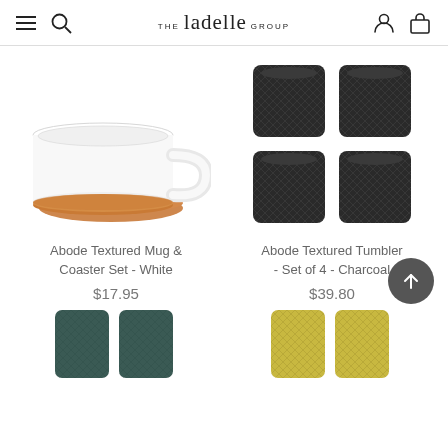THE ladelle GROUP — navigation header with hamburger menu, search, account, and cart icons
[Figure (photo): White ceramic mug with textured diamond pattern sitting on a round cork coaster]
[Figure (photo): Four charcoal/black textured ceramic tumblers arranged in a 2x2 grid]
Abode Textured Mug & Coaster Set - White
$17.95
Abode Textured Tumbler - Set of 4 - Charcoal
$39.80
[Figure (photo): Two dark teal/grey textured ceramic tumblers, partially visible at bottom of page]
[Figure (photo): Two yellow/olive textured ceramic tumblers, partially visible at bottom of page]